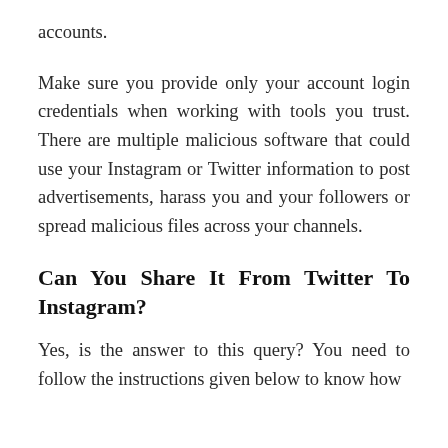accounts.
Make sure you provide only your account login credentials when working with tools you trust. There are multiple malicious software that could use your Instagram or Twitter information to post advertisements, harass you and your followers or spread malicious files across your channels.
Can You Share It From Twitter To Instagram?
Yes, is the answer to this query? You need to follow the instructions given below to know how